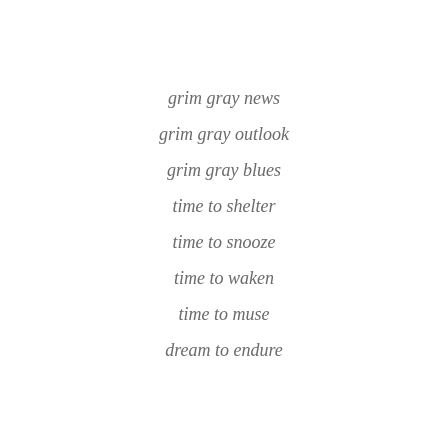grim gray news
grim gray outlook
grim gray blues
time to shelter
time to snooze
time to waken
time to muse
dream to endure